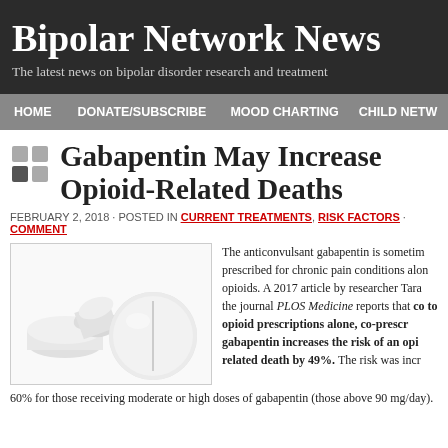Bipolar Network News
The latest news on bipolar disorder research and treatment
HOME | DONATE/SUBSCRIBE | MOOD CHARTING | CHILD NETW...
Gabapentin May Increase Opioid-Related Deaths
FEBRUARY 2, 2018 · POSTED IN CURRENT TREATMENTS, RISK FACTORS · COMMENT
[Figure (photo): Three white pharmaceutical tablets/pills on a white background]
The anticonvulsant gabapentin is sometimes prescribed for chronic pain conditions along with opioids. A 2017 article by researcher Tara in the journal PLOS Medicine reports that compared to opioid prescriptions alone, co-prescribing gabapentin increases the risk of an opioid-related death by 49%. The risk was increased 60% for those receiving moderate or high doses of gabapentin (those above 90 mg/day).